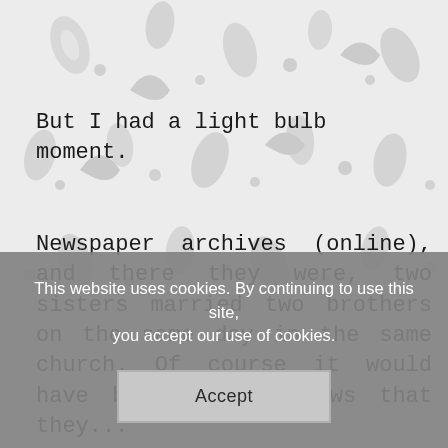But I had a light bulb moment.
Newspaper archives (online), and there they were, two sisters married two brothers on the same day in the same church. Of course it would have been locally news that they...
This website uses cookies. By continuing to use this site, you accept our use of cookies.
Accept